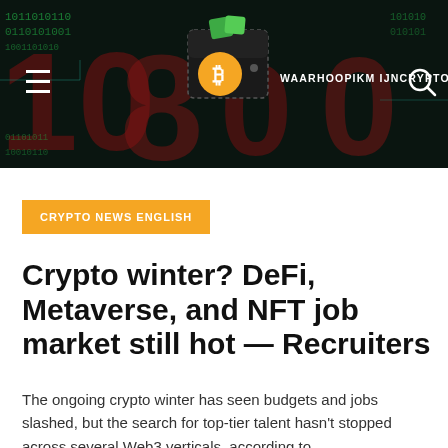[Figure (logo): Website header banner with dark background showing digital numbers pattern, Bitcoin wallet logo with orange Bitcoin coin, and site name WAARHOOPIKM IJNCRYPTO.NL. Hamburger menu icon on left, search icon on right.]
CRYPTO NEWS ENGLISH
Crypto winter? DeFi, Metaverse, and NFT job market still hot — Recruiters
The ongoing crypto winter has seen budgets and jobs slashed, but the search for top-tier talent hasn't stopped across several Web3 verticals, according to